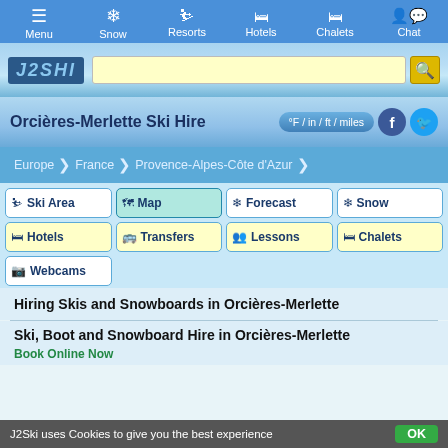Menu  Snow  Resorts  Hotels  Chalets  Chat
[Figure (screenshot): J2Ski logo and search bar with yellow search button]
Orcières-Merlette Ski Hire
°F / in / ft / miles
Europe > France > Provence-Alpes-Côte d'Azur
Ski Area
Map
Forecast
Snow
Hotels
Transfers
Lessons
Chalets
Webcams
Hiring Skis and Snowboards in Orcières-Merlette
Ski, Boot and Snowboard Hire in Orcières-Merlette
Book Online Now
J2Ski uses Cookies to give you the best experience  OK